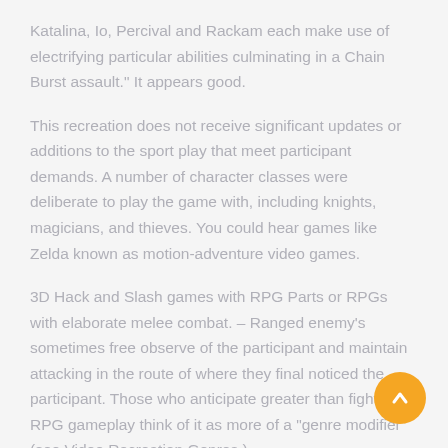Katalina, Io, Percival and Rackam each make use of electrifying particular abilities culminating in a Chain Burst assault." It appears good.
This recreation does not receive significant updates or additions to the sport play that meet participant demands. A number of character classes were deliberate to play the game with, including knights, magicians, and thieves. You could hear games like Zelda known as motion-adventure video games.
3D Hack and Slash games with RPG Parts or RPGs with elaborate melee combat. – Ranged enemy's sometimes free observe of the participant and maintain attacking in the route of where they final noticed the participant. Those who anticipate greater than fight from RPG gameplay think of it as more of a "genre modifier" (see Video Recreation Genres ).